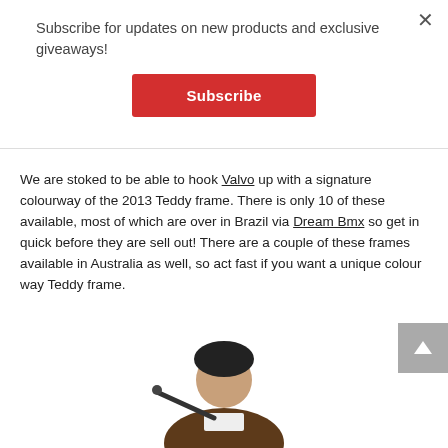Subscribe for updates on new products and exclusive giveaways!
Subscribe
We are stoked to be able to hook Valvo up with a signature colourway of the 2013 Teddy frame. There is only 10 of these available, most of which are over in Brazil via Dream Bmx so get in quick before they are sell out! There are a couple of these frames available in Australia as well, so act fast if you want a unique colour way Teddy frame.
[Figure (photo): A young man wearing a black beanie and brown jacket holding a BMX bike, photographed against a white background.]